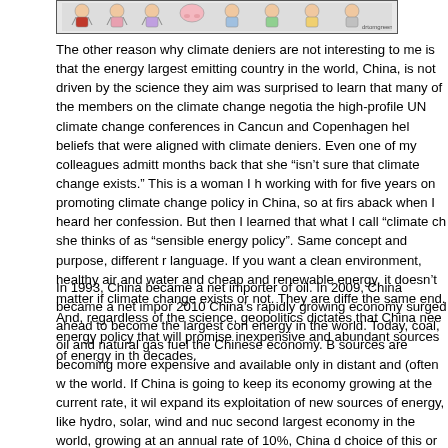[Figure (illustration): A cartoon strip showing illustrated figures, partially visible at top of page]
The other reason why climate deniers are not interesting to me is that the energy largest emitting country in the world, China, is not driven by the science they aim was surprised to learn that many of the members on the climate change negotia the high-profile UN climate change conferences in Cancun and Copenhagen hel beliefs that were aligned with climate deniers. Even one of my colleagues admitt months back that she “isn’t sure that climate change exists.” This is a woman I h working with for five years on promoting climate change policy in China, so at firs aback when I heard her confession. But then I learned that what I call “climate ch she thinks of as “sensible energy policy”. Same concept and purpose, different r language. If you want a clean environment, healthy air and water and cheap and renewable energy, it doesn’t matter if climate change exists or not. They are diffe the same end. And, regardless of the science, geopolitics dictates that China nee energy policy that will promise inexpensive and abundant sources of energy in th decades.
In 1993, China became a net importer of oil. In 2009, China became a net impor 2010 China’s rapidly growing economy surged ahead to become the largest con energy in the world. Today, coal, oil and natural gas fuel the Chinese economy. B sources are becoming more expensive and available only in distant and (often w the world. If China is going to keep its economy growing at the current rate, it wil expand its exploitation of new sources of energy, like hydro, solar, wind and nuc second largest economy in the world, growing at an annual rate of 10%, China d choice of this or that type of energy. It must take whatever it can get.